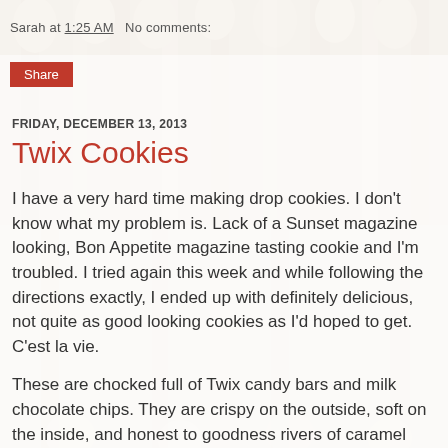Sarah at 1:25 AM   No comments:
Share
FRIDAY, DECEMBER 13, 2013
Twix Cookies
I have a very hard time making drop cookies. I don't know what my problem is. Lack of a Sunset magazine looking, Bon Appetite magazine tasting cookie and I'm troubled. I tried again this week and while following the directions exactly, I ended up with definitely delicious, not quite as good looking cookies as I'd hoped to get. C'est la vie.
These are chocked full of Twix candy bars and milk chocolate chips. They are crispy on the outside, soft on the inside, and honest to goodness rivers of caramel flow through these bad boys. They are good. And I think they would be great with any other fave candy bar... Butterfingers, I'm looking at you.